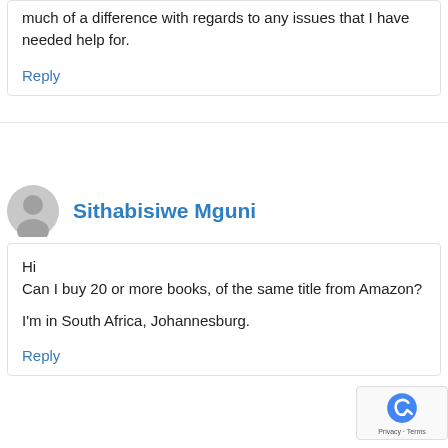much of a difference with regards to any issues that I have needed help for.
Reply
Sithabisiwe Mguni
Hi
Can I buy 20 or more books, of the same title from Amazon?

I'm in South Africa, Johannesburg.
Reply